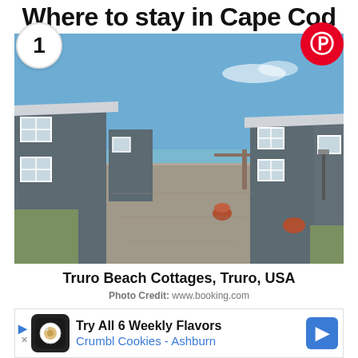Where to stay in Cape Cod
[Figure (photo): Photo of Truro Beach Cottages showing a row of grey shingled cottages with a gravel courtyard, blue sky, and ocean visible in the background]
Truro Beach Cottages, Truro, USA
Photo Credit: www.booking.com
These quaint cottages in Truro are 60m from
Try All 6 Weekly Flavors
Crumbl Cookies - Ashburn